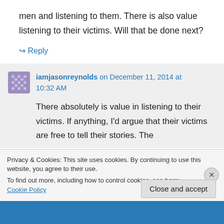men and listening to them. There is also value listening to their victims. Will that be done next?
↪ Reply
iamjasonreynolds on December 11, 2014 at 10:32 AM
There absolutely is value in listening to their victims. If anything, I'd argue that their victims are free to tell their stories. The
Privacy & Cookies: This site uses cookies. By continuing to use this website, you agree to their use.
To find out more, including how to control cookies, see here: Cookie Policy
Close and accept